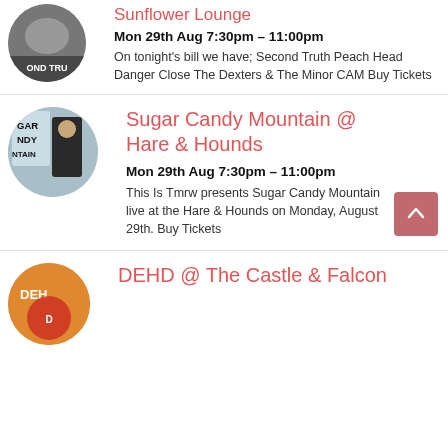[Figure (photo): Circular thumbnail photo of a group of people, with text 'OND TRU' visible]
Sunflower Lounge
Mon 29th Aug 7:30pm – 11:00pm
On tonight's bill we have; Second Truth Peach Head Danger Close The Dexters & The Minor CAM Buy Tickets
[Figure (photo): Circular thumbnail photo labeled 'GAR NDY NTAIN' of Sugar Candy Mountain]
Sugar Candy Mountain @ Hare & Hounds
Mon 29th Aug 7:30pm – 11:00pm
This Is Tmrw presents Sugar Candy Mountain live at the Hare & Hounds on Monday, August 29th. Buy Tickets
[Figure (photo): Circular thumbnail photo for DEHD with orange/red colors and text 'DEHD']
DEHD @ The Castle & Falcon